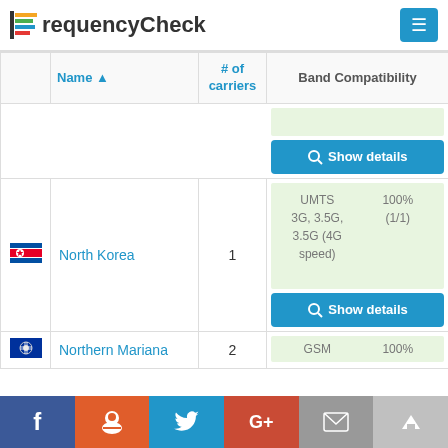FrequencyCheck
|  | Name ▲ | # of carriers | Band Compatibility |
| --- | --- | --- | --- |
|  |  |  | Show details |
| 🇰🇵 | North Korea | 1 | UMTS 3G, 3.5G, 3.5G (4G speed) | 100% (1/1) | Show details |
| 🇲🇵 | Northern Mariana | 2 | GSM | 100% |